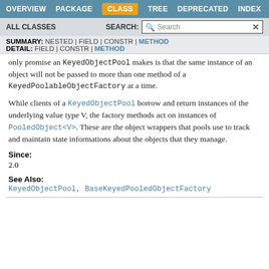OVERVIEW | PACKAGE | CLASS | TREE | DEPRECATED | INDEX
ALL CLASSES | SEARCH:
SUMMARY: NESTED | FIELD | CONSTR | METHOD
DETAIL: FIELD | CONSTR | METHOD
Only promise an KeyedObjectPool makes is that the same instance of an object will not be passed to more than one method of a KeyedPoolableObjectFactory at a time.
While clients of a KeyedObjectPool borrow and return instances of the underlying value type V, the factory methods act on instances of PooledObject<V>. These are the object wrappers that pools use to track and maintain state informations about the objects that they manage.
Since:
2.0
See Also:
KeyedObjectPool, BaseKeyedPooledObjectFactory